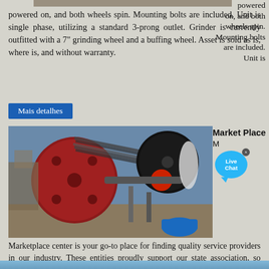powered on, and both wheels spin. Mounting bolts are included. Unit is single phase, utilizing a standard 3-prong outlet. Grinder is currently outfitted with a 7" grinding wheel and a buffing wheel. Asset is sold as is, where is, and without warranty.
Mais detalhes
[Figure (photo): Close-up photograph of industrial machinery showing red and black belt-drive pulleys with multiple V-belts, and a blue motor component visible at bottom right.]
Market Place M
Live Chat
Marketplace center is your go-to place for finding quality service providers in our industry. These entities proudly support our state association, so when you"re in need of their products, we hope you will support them as well.
Mais detalhes